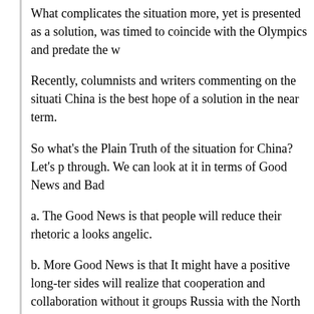What complicates the situation more, yet is presented as a solution, was timed to coincide with the Olympics and predate the w
Recently, columnists and writers commenting on the situation China is the best hope of a solution in the near term.
So what's the Plain Truth of the situation for China? Let's p through. We can look at it in terms of Good News and Bad
a. The Good News is that people will reduce their rhetoric a looks angelic.
b. More Good News is that It might have a positive long-ter sides will realize that cooperation and collaboration without it groups Russia with the North Koreas of the world.
c. Some Bad News is that if China continues to sit on the s political corner as Russia.
d. More Bad News is that China, which had hoped to divide everybody, has seen the West, NATO and the World come thoughts about invading Taiwan.